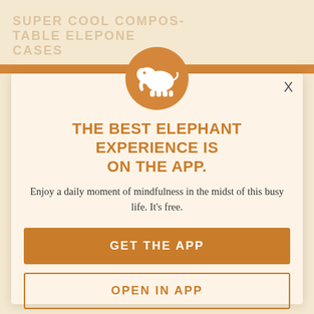always right. We are made to believe that "the system works" and that justice prevails
[Figure (screenshot): Mobile app interstitial overlay for Elephant app. Features an orange elephant logo in a gold circle, headline text 'THE BEST ELEPHANT EXPERIENCE IS ON THE APP.', subtitle 'Enjoy a daily moment of mindfulness in the midst of this busy life. It's free.', a filled orange 'GET THE APP' button, and an outlined 'OPEN IN APP' button. Background shows a faded ad for 'Super Cool Compostable Phone Cases'.]
THE BEST ELEPHANT EXPERIENCE IS ON THE APP.
Enjoy a daily moment of mindfulness in the midst of this busy life. It's free.
GET THE APP
OPEN IN APP